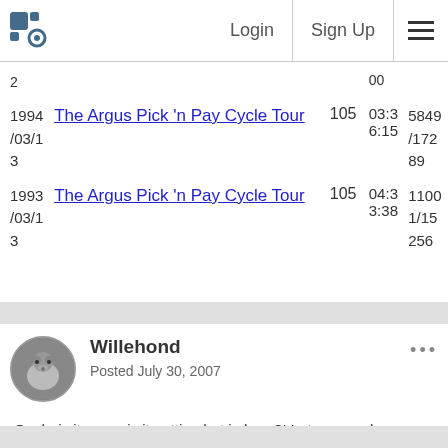Login | Sign Up
| Date | Race | Riders | Time | Rank |
| --- | --- | --- | --- | --- |
| 1994/03/13 | The Argus Pick 'n Pay Cycle Tour | 105 | 03:36:15 | 5849/17289 |
| 1993/03/13 | The Argus Pick 'n Pay Cycle Tour | 105 | 04:33:38 | 11001/15256 |
Willehond
Posted July 30, 2007
Ouch, is it me or is it getting hot in here?! Let me go play somewhere else...